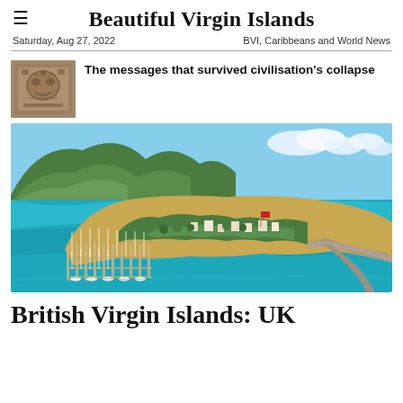Beautiful Virgin Islands
Saturday, Aug 27, 2022    BVI, Caribbeans and World News
The messages that survived civilisation's collapse
[Figure (photo): Aerial photograph of a marina with many sailboats docked, a peninsula with palm trees and buildings, surrounded by turquoise Caribbean water, with green hills in the background]
British Virgin Islands: UK